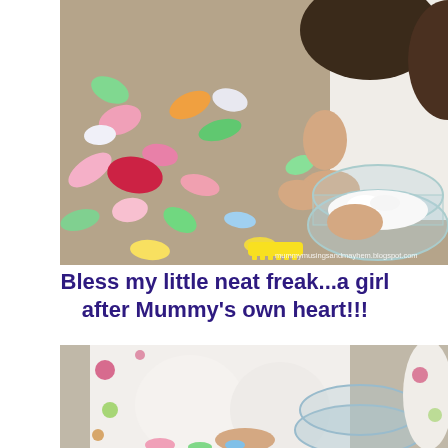[Figure (photo): Child playing on the floor surrounded by colorful foam animal shapes, scooping whipped cream into a glass bowl. Watermark reads mummymusingsandmayhem.blogspot.com]
Bless my little neat freak...a girl after Mummy's own heart!!!
[Figure (photo): Close-up of child in white pajamas with a glass bowl, foam shapes scattered on floor]